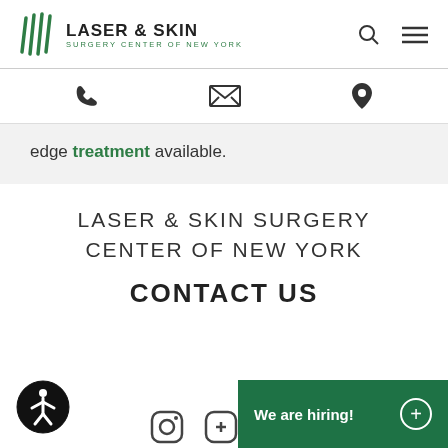LASER & SKIN SURGERY CENTER OF NEW YORK
[Figure (logo): Laser & Skin Surgery Center of New York logo with green striped icon and text]
edge treatment available.
LASER & SKIN SURGERY
CENTER OF NEW YORK
CONTACT US
We are hiring!